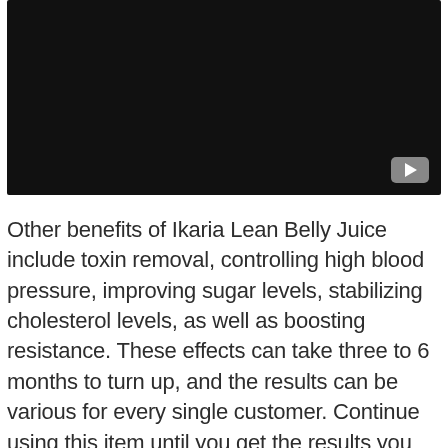[Figure (screenshot): Embedded video player with black background and YouTube play button in lower right corner]
Other benefits of Ikaria Lean Belly Juice include toxin removal, controlling high blood pressure, improving sugar levels, stabilizing cholesterol levels, as well as boosting resistance. These effects can take three to 6 months to turn up, and the results can be various for every single customer. Continue using this item until you get the results you desire. There are no negative